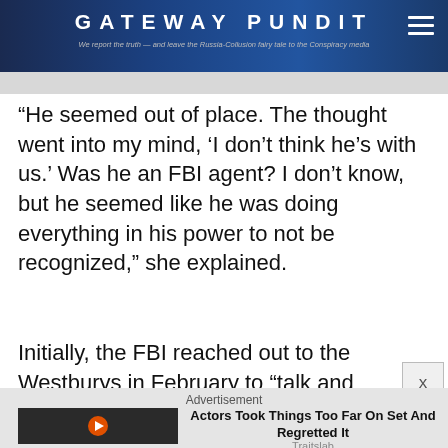GATEWAY PUNDIT
“He seemed out of place. The thought went into my mind, ‘I don’t think he’s with us.’ Was he an FBI agent? I don’t know, but he seemed like he was doing everything in his power to not be recognized,” she explained.
Initially, the FBI reached out to the Westburys in February to “talk and ask Jonah Westbury some
Advertisement
[Figure (screenshot): Advertisement thumbnail showing actors on set with play button overlay]
Actors Took Things Too Far On Set And Regretted It
Traitslab